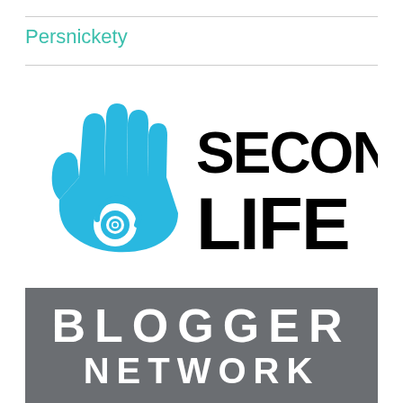Persnickety
[Figure (logo): Second Life logo: cyan hand with eye in palm, with bold black text 'SECOND LIFE' to the right]
[Figure (logo): Second Life Blogger Network banner: dark gray background with bold white text 'BLOGGER NETWORK']